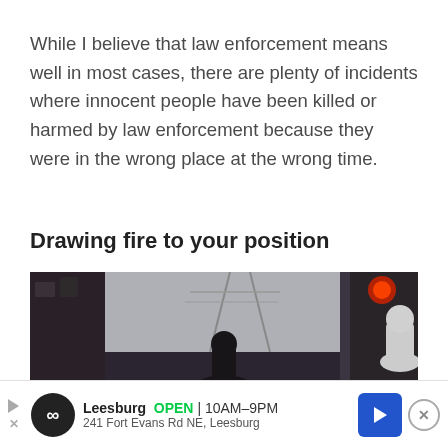While I believe that law enforcement means well in most cases, there are plenty of incidents where innocent people have been killed or harmed by law enforcement because they were in the wrong place at the wrong time.
Drawing fire to your position
[Figure (photo): Dark street scene photo showing a city alleyway or street at night/dusk with a silhouetted figure in the center, red traffic light visible on the right, and a light-colored figure on the far right edge.]
Leesburg   OPEN | 10AM–9PM   241 Fort Evans Rd NE, Leesburg